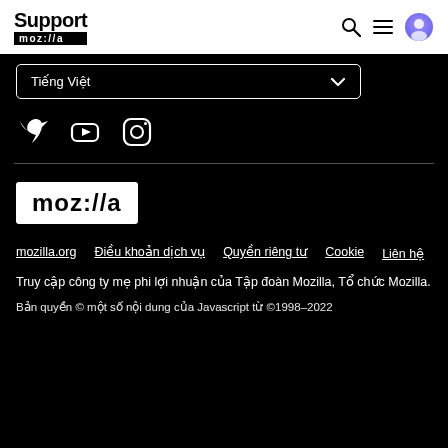Support mozilla
Tiếng Việt
[Figure (logo): Social media icons: Twitter, YouTube, Instagram]
[Figure (logo): Mozilla logo in white box with black text: moz://a]
mozilla.org   Điều khoản dịch vụ   Quyền riêng tư   Cookie   Liên hệ
Truy cập công ty mẹ phi lợi nhuận của Tập đoàn Mozilla, Tổ chức Mozilla.